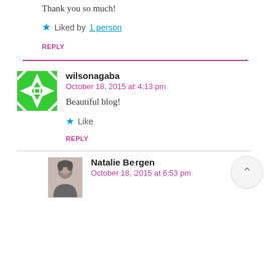Thank you so much!
★ Liked by 1 person
REPLY
wilsonagaba
October 18, 2015 at 4:13 pm
Beautiful blog!
★ Like
REPLY
Natalie Bergen
October 18, 2015 at 6:53 pm